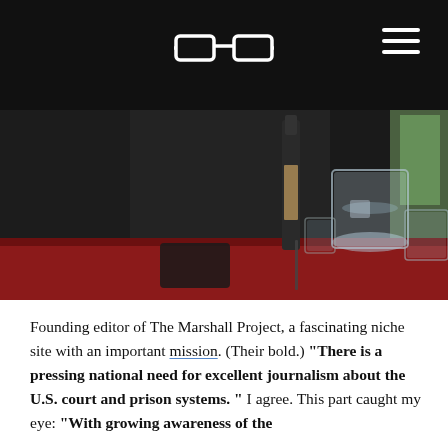[glasses logo] [hamburger menu]
[Figure (photo): Photo of a table scene with glasses of water, a dark bottle, and a coaster on a red wooden table surface; dark-clothed figures partially visible in background]
Founding editor of The Marshall Project, a fascinating niche site with an important mission. (Their bold.) “There is a pressing national need for excellent journalism about the U.S. court and prison systems.” I agree. This part caught my eye: “With growing awareness of the